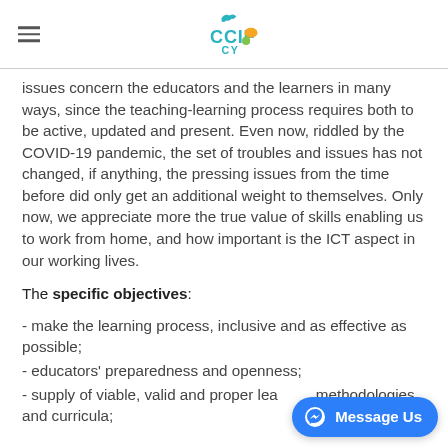CCIF CY
issues concern the educators and the learners in many ways, since the teaching-learning process requires both to be active, updated and present. Even now, riddled by the COVID-19 pandemic, the set of troubles and issues has not changed, if anything, the pressing issues from the time before did only get an additional weight to themselves. Only now, we appreciate more the true value of skills enabling us to work from home, and how important is the ICT aspect in our working lives.
The specific objectives:
- make the learning process, inclusive and as effective as possible;
- educators' preparedness and openness;
- supply of viable, valid and proper learning methodologies and curricula;